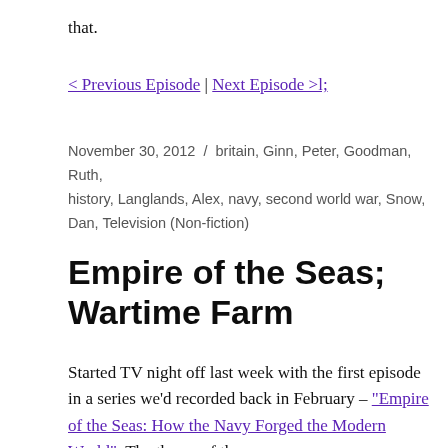that.
< Previous Episode | Next Episode >l;
November 30, 2012 / britain, Ginn, Peter, Goodman, Ruth, history, Langlands, Alex, navy, second world war, Snow, Dan, Television (Non-fiction)
Empire of the Seas; Wartime Farm
Started TV night off last week with the first episode in a series we'd recorded back in February – "Empire of the Seas: How the Navy Forged the Modern World". The theme of the